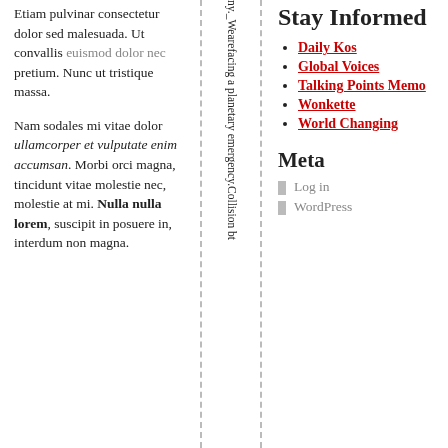Etiam pulvinar consectetur dolor sed malesuada. Ut convallis euismod dolor nec pretium. Nunc ut tristique massa.
Nam sodales mi vitae dolor ullamcorper et vulputate enim accumsan. Morbi orci magna, tincidunt vitae molestie nec, molestie at mi. Nulla nulla lorem, suscipit in posuere in, interdum non magna.
ny._Wearefacing a planetary emergency.Collision bt
Stay Informed
Daily Kos
Global Voices
Talking Points Memo
Wonkette
World Changing
Meta
Log in
WordPress